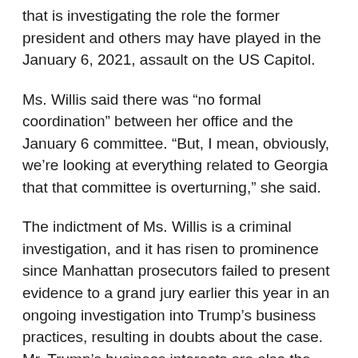that is investigating the role the former president and others may have played in the January 6, 2021, assault on the US Capitol.
Ms. Willis said there was “no formal coordination” between her office and the January 6 committee. “But, I mean, obviously, we’re looking at everything related to Georgia that that committee is overturning,” she said.
The indictment of Ms. Willis is a criminal investigation, and it has risen to prominence since Manhattan prosecutors failed to present evidence to a grand jury earlier this year in an ongoing investigation into Trump’s business practices, resulting in doubts about the case. Mr. Trump’s business interests are also the subject of a criminal investigation in Westchester County, New York.